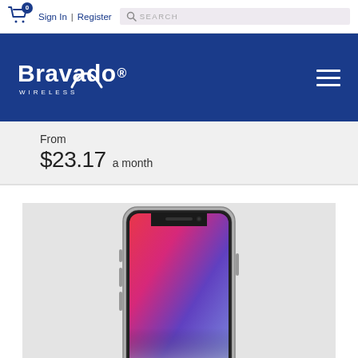Sign In | Register SEARCH
[Figure (logo): Bravado Wireless logo - white text on blue background with arc over the 'a' in Bravado]
From $23.17 a month
[Figure (photo): iPhone X product photo showing the device with colorful display featuring red, pink, blue and white gradient wallpaper, notch at top, silver frame, on a light gray background]